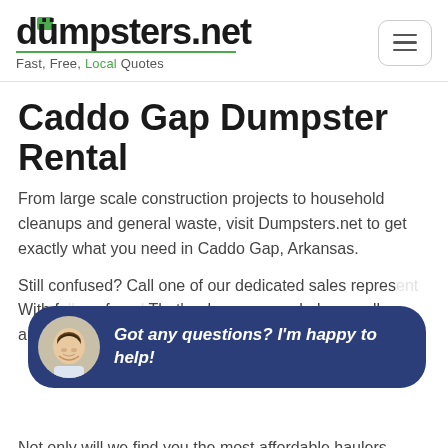dumpsters.net — Fast, Free, Local Quotes
Caddo Gap Dumpster Rental
From large scale construction projects to household cleanups and general waste, visit Dumpsters.net to get exactly what you need in Caddo Gap, Arkansas.
Still confused? Call one of our dedicated sales repres... With fo... confu... That's where we can help you all around Montgomery County.
[Figure (screenshot): Chat popup overlay with avatar of a smiling man and text 'Got any questions? I'm happy to help!' on dark blue rounded rectangle background, plus a circular dark blue chat bubble icon button]
Not only will we find you the most affordable haulers